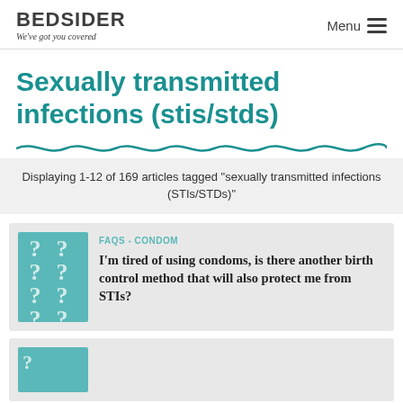BEDSIDER We've got you covered | Menu
Sexually transmitted infections (stis/stds)
Displaying 1-12 of 169 articles tagged "sexually transmitted infections (STIs/STDs)"
FAQS - CONDOM
I'm tired of using condoms, is there another birth control method that will also protect me from STIs?